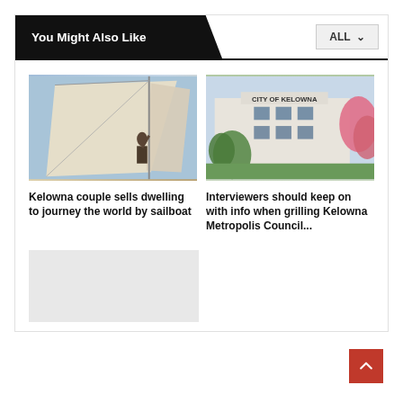You Might Also Like
[Figure (photo): Person on a sailboat, pulling a sail rope against a bright blue sky with large white sails visible]
Kelowna couple sells dwelling to journey the world by sailboat
[Figure (photo): City of Kelowna building exterior with sign reading CITY OF KELOWNA, surrounded by green trees and pink flowering tree]
Interviewers should keep on with info when grilling Kelowna Metropolis Council...
[Figure (photo): Placeholder grey image, content not visible]